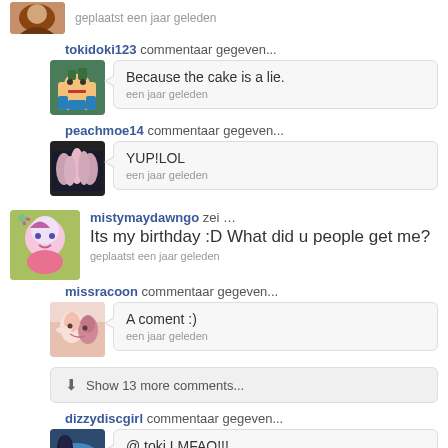geplaatst een jaar geleden
tokidoki123 commentaar gegeven...
Because the cake is a lie.
een jaar geleden
peachmoe14 commentaar gegeven...
YUP!LOL
een jaar geleden
mistymaydawngo zei ...
Its my birthday :D What did u people get me?
geplaatst een jaar geleden
missracoon commentaar gegeven...
A coment :)
een jaar geleden
Show 13 more comments...
dizzydiscgirl commentaar gegeven...
@ toki LMFAO!!!
een jaar geleden